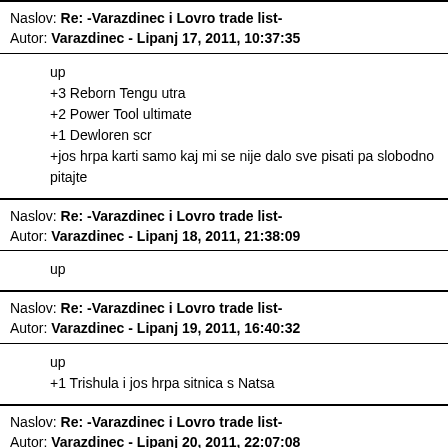Naslov: Re: -Varazdinec i Lovro trade list-
Autor: Varazdinec - Lipanj 17, 2011, 10:37:35
up
+3 Reborn Tengu utra
+2 Power Tool ultimate
+1 Dewloren scr
+jos hrpa karti samo kaj mi se nije dalo sve pisati pa slobodno pitajte
Naslov: Re: -Varazdinec i Lovro trade list-
Autor: Varazdinec - Lipanj 18, 2011, 21:38:09
up
Naslov: Re: -Varazdinec i Lovro trade list-
Autor: Varazdinec - Lipanj 19, 2011, 16:40:32
up
+1 Trishula i jos hrpa sitnica s Natsa
Naslov: Re: -Varazdinec i Lovro trade list-
Autor: Varazdinec - Lipanj 20, 2011, 22:07:08
Citat: Varazdinec - Svibanj 20, 2011, 21:50:34